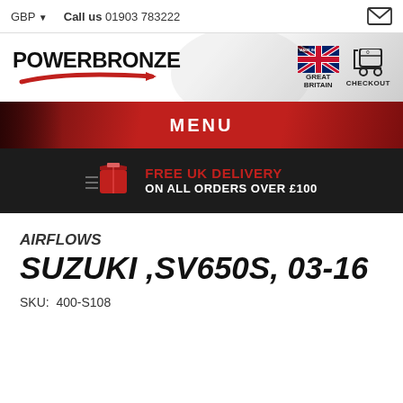GBP ▼   Call us 01903 783222
[Figure (logo): Powerbronze logo with red swoosh, Made in Great Britain flag badge, and checkout cart icon]
MENU
FREE UK DELIVERY ON ALL ORDERS OVER £100
AIRFLOWS
SUZUKI ,SV650S, 03-16
SKU:  400-S108